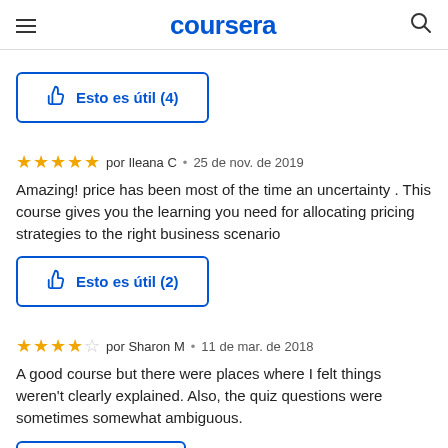coursera
Esto es útil (4)
★★★★★ por Ileana C • 25 de nov. de 2019
Amazing! price has been most of the time an uncertainty . This course gives you the learning you need for allocating pricing strategies to the right business scenario
Esto es útil (2)
★★★★☆ por Sharon M • 11 de mar. de 2018
A good course but there were places where I felt things weren't clearly explained. Also, the quiz questions were sometimes somewhat ambiguous.
Esto es útil